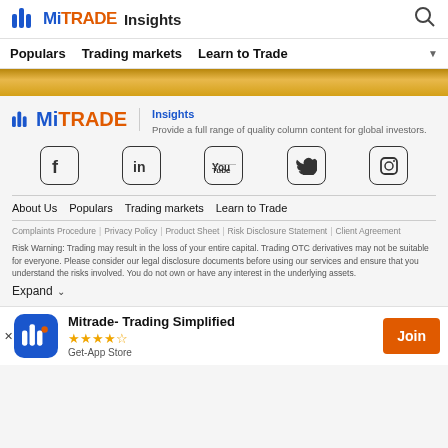MiTRADE Insights
Populars  Trading markets  Learn to Trade
[Figure (other): Gold/amber colored banner strip]
[Figure (logo): MiTRADE logo with orange and blue styling]
Insights
Provide a full range of quality column content for global investors.
[Figure (other): Social media icons: Facebook, LinkedIn, YouTube, Twitter, Instagram]
About Us  Populars  Trading markets  Learn to Trade
Complaints Procedure | Privacy Policy | Product Sheet | Risk Disclosure Statement | Client Agreement
Risk Warning: Trading may result in the loss of your entire capital. Trading OTC derivatives may not be suitable for everyone. Please consider our legal disclosure documents before using our services and ensure that you understand the risks involved. You do not own or have any interest in the underlying assets.
Expand
Mitrade- Trading Simplified
★★★★☆
Get-App Store